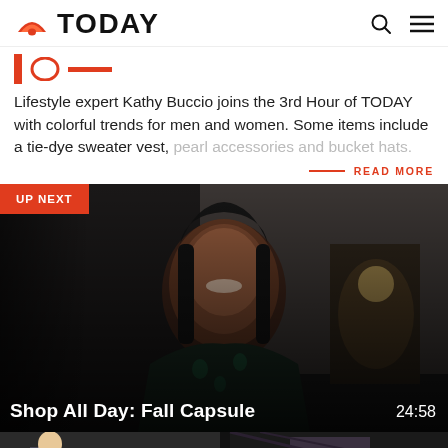TODAY
Shop All Day: Colorful Fall Trends
Lifestyle expert Kathy Buccio joins the 3rd Hour of TODAY with colorful trends for men and women. Some items include a tie-dye sweater vest, pearl accessories and bucket hats.
READ MORE
[Figure (screenshot): Video thumbnail labeled UP NEXT showing a smiling woman with dark hair wearing a dark floral top, seated in a studio-style room with brick wall and lamp in background. Bottom overlay shows title 'Shop All Day: Fall Capsule' and duration '24:58'.]
Shop All Day: Fall Capsule  24:58
[Figure (screenshot): Bottom thumbnail strip showing partial view of next video thumbnail featuring a man in a suit on the left side.]